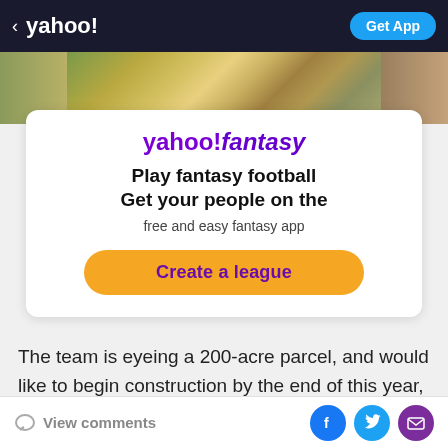< yahoo!    Get App
[Figure (photo): Partial photo strip showing people and plants/outdoor scene]
[Figure (infographic): Yahoo Fantasy ad card: yahoo!fantasy logo, Play fantasy football Get your people on the free and easy fantasy app, Create a league button]
The team is eyeing a 200-acre parcel, and would like to begin construction by the end of this year, with the facility open in early 2022.
View comments  [Facebook] [Twitter] [Email]